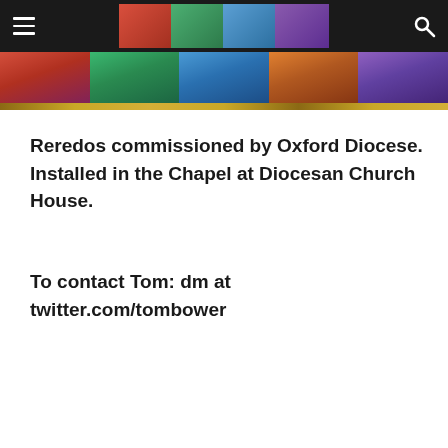Navigation bar with hamburger menu, logo image, and search icon
[Figure (photo): Colorful banner image showing artistic panels with painted scenes, with a gold strip at the bottom]
Reredos commissioned by Oxford Diocese. Installed in the Chapel at Diocesan Church House.
To contact Tom: dm at twitter.com/tombower